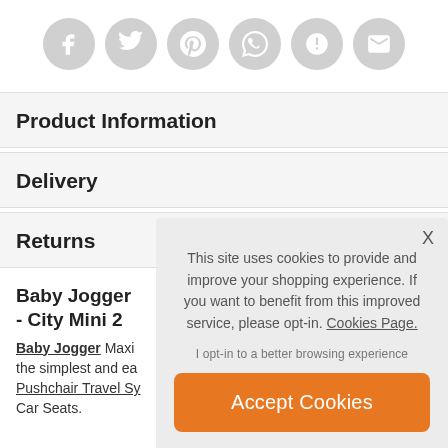[Figure (illustration): Row of six circular grey social media share icons: Facebook, Twitter, Pinterest, WhatsApp, unknown/question, and Email/mail]
Product Information
Delivery
Returns
Baby Jogger - City Mini 2
Baby Jogger Maxi the simplest and ea... Pushchair Travel Sy... Car Seats.
This site uses cookies to provide and improve your shopping experience. If you want to benefit from this improved service, please opt-in. Cookies Page.
I opt-in to a better browsing experience
Accept Cookies